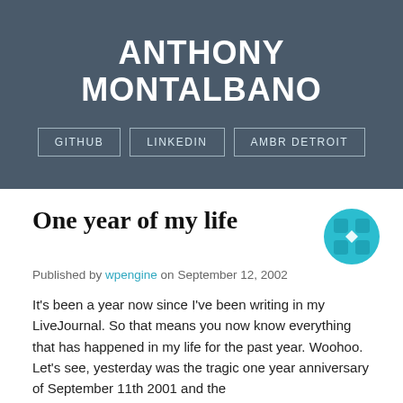ANTHONY MONTALBANO
GITHUB   LINKEDIN   AMBR DETROIT
One year of my life
Published by wpengine on September 12, 2002
It’s been a year now since I’ve been writing in my LiveJournal. So that means you now know everything that has happened in my life for the past year. Woohoo. Let’s see, yesterday was the tragic one year anniversary of September 11th 2001 and the